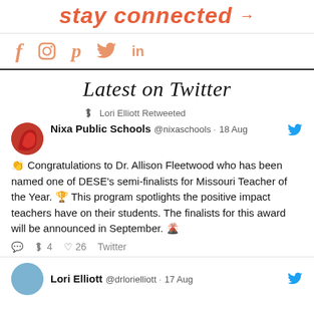stay connected →
[Figure (infographic): Social media icons row: Facebook (f), Instagram, Pinterest (p), Twitter bird, LinkedIn (in) in salmon/orange color]
Latest on Twitter
↺ Lori Elliott Retweeted
Nixa Public Schools @nixaschools · 18 Aug 👏 Congratulations to Dr. Allison Fleetwood who has been named one of DESE's semi-finalists for Missouri Teacher of the Year. 🏆 This program spotlights the positive impact teachers have on their students. The finalists for this award will be announced in September. 🌋
💬 ↺ 4  ♡ 26  Twitter
Lori Elliott @drlorielliott · 17 Aug